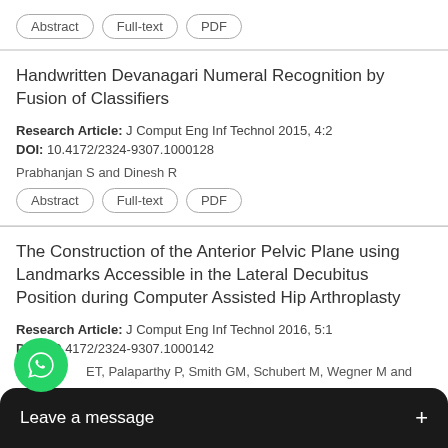[Figure (screenshot): Abstract, Full-text, PDF buttons at top of page]
Handwritten Devanagari Numeral Recognition by Fusion of Classifiers
Research Article: J Comput Eng Inf Technol 2015, 4:2
DOI: 10.4172/2324-9307.1000128
Prabhanjan S and Dinesh R
[Figure (screenshot): Abstract, Full-text, PDF buttons]
The Construction of the Anterior Pelvic Plane using Landmarks Accessible in the Lateral Decubitus Position during Computer Assisted Hip Arthroplasty
Research Article: J Comput Eng Inf Technol 2016, 5:1
DOI: 10.4172/2324-9307.1000142
ET, Palaparthy P, Smith GM, Schubert M, Wegner M and dM
[Figure (screenshot): WhatsApp button and Leave a message overlay bar]